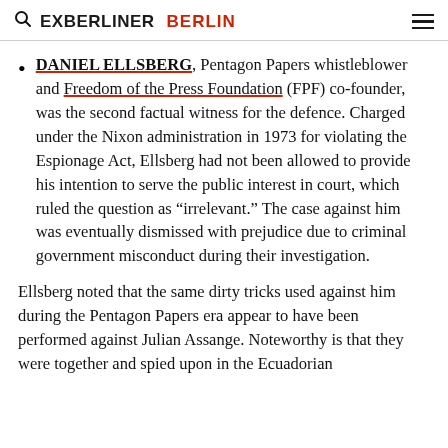EXBERLINER BERLIN
DANIEL ELLSBERG, Pentagon Papers whistleblower and Freedom of the Press Foundation (FPF) co-founder, was the second factual witness for the defence. Charged under the Nixon administration in 1973 for violating the Espionage Act, Ellsberg had not been allowed to provide his intention to serve the public interest in court, which ruled the question as “irrelevant.” The case against him was eventually dismissed with prejudice due to criminal government misconduct during their investigation.
Ellsberg noted that the same dirty tricks used against him during the Pentagon Papers era appear to have been performed against Julian Assange. Noteworthy is that they were together and spied upon in the Ecuadorian